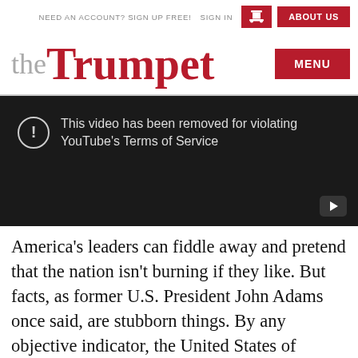NEED AN ACCOUNT? SIGN UP FREE!   SIGN IN   ABOUT US
the Trumpet
[Figure (screenshot): YouTube video removed notice: 'This video has been removed for violating YouTube's Terms of Service' on a dark background with a play button icon in the bottom right.]
America’s leaders can fiddle away and pretend that the nation isn’t burning if they like. But facts, as former U.S. President John Adams once said, are stubborn things. By any objective indicator, the United States of America is far worse off than it was five or six years ago.